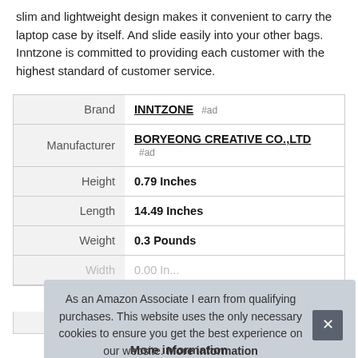slim and lightweight design makes it convenient to carry the laptop case by itself. And slide easily into your other bags. Inntzone is committed to providing each customer with the highest standard of customer service.
| Attribute | Value |
| --- | --- |
| Brand | INNTZONE #ad |
| Manufacturer | BORYEONG CREATIVE CO.,LTD #ad |
| Height | 0.79 Inches |
| Length | 14.49 Inches |
| Weight | 0.3 Pounds |
| Width | 0.00 Inches |
As an Amazon Associate I earn from qualifying purchases. This website uses the only necessary cookies to ensure you get the best experience on our website. More information
More information